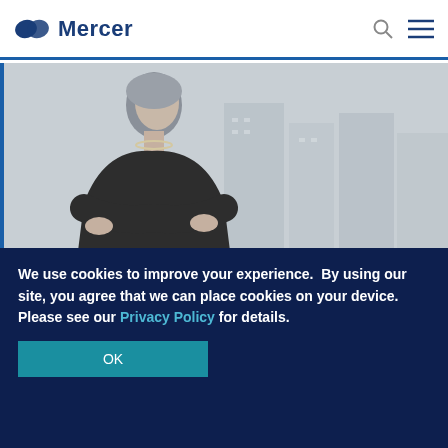Mercer
[Figure (photo): Professional woman with short grey hair, wearing a dark blazer and pearl necklace, arms crossed, standing in front of city skyline with tall glass buildings in the background.]
Career
Executive compensation: Analysis of
We use cookies to improve your experience.  By using our site, you agree that we can place cookies on your device. Please see our Privacy Policy for details.
OK